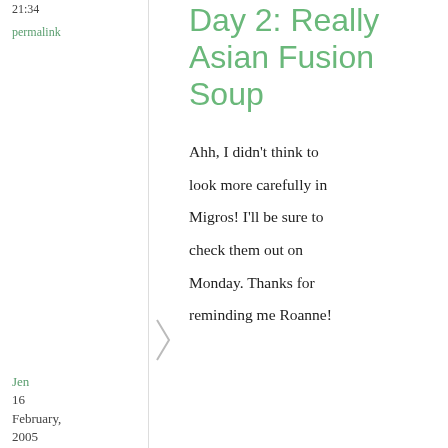21:34
permalink
Day 2: Really Asian Fusion Soup
Ahh, I didn't think to look more carefully in Migros! I'll be sure to check them out on Monday. Thanks for reminding me Roanne!
Jen
16
February,
2005
MasterChef challenge